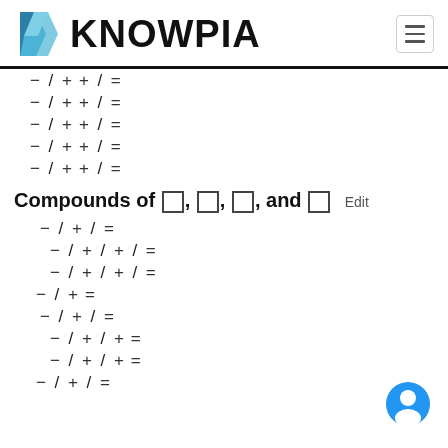KNOWPIA
Compounds of □, □, □, and □  Edit